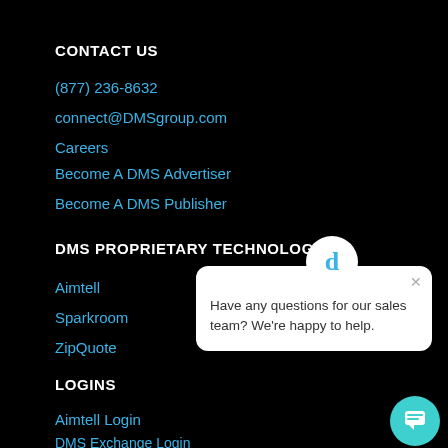CONTACT US
(877) 236-8632
connect@DMSgroup.com
Careers
Become A DMS Advertiser
Become A DMS Publisher
DMS PROPRIETARY TECHNOLOGY
Aimtell
Sparkroom
ZipQuote
[Figure (other): Chat popup widget with DMS logo icon and message: 'Have any questions for our sales team? We're happy to help.']
LOGINS
Aimtell Login
DMS Exchange Login
DMS Performance Ad Market Publisher Login